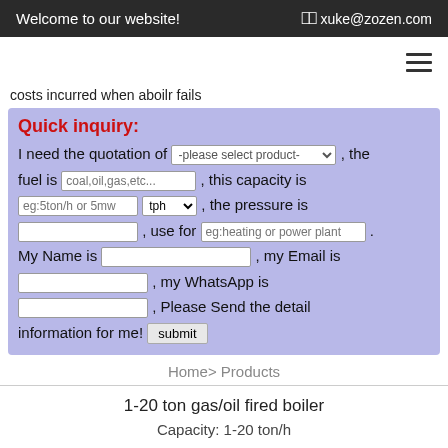Welcome to our website!  xuke@zozen.com
costs incurred when aboilr fails
Quick inquiry: I need the quotation of [select], the fuel is [coal,oil,gas,etc...], this capacity is [eg:5ton/h or 5mw] [tph], the pressure is [], use for [eg:heating or power plant]. My Name is [], my Email is [], my WhatsApp is [], Please Send the detail information for me! [submit]
Home> Products
1-20 ton gas/oil fired boiler
Capacity: 1-20 ton/h